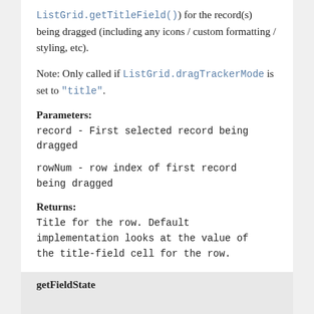ListGrid.getTitleField()) for the record(s) being dragged (including any icons / custom formatting / styling, etc).
Note: Only called if ListGrid.dragTrackerMode is set to "title".
Parameters:
record - First selected record being dragged
rowNum - row index of first record being dragged
Returns:
Title for the row. Default implementation looks at the value of the title-field cell for the row.
getFieldState